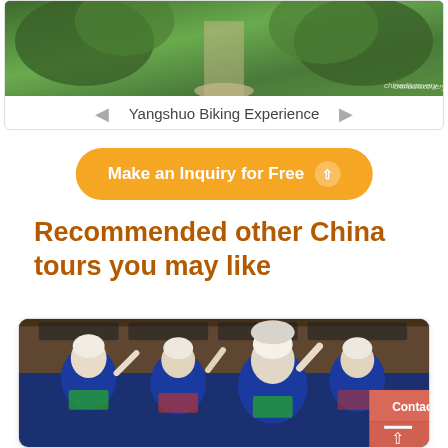[Figure (photo): Top banner photo of a green leafy path, Yangshuo biking scene with watermark 'chinadiscovery']
◄  Yangshuo Biking Experience  ►
Make an Inquiry for Free ↑
Recommended other China tours you may like
[Figure (photo): Photo of Miao minority women in traditional blue embroidered costumes and silver headdresses dancing and waving, in front of wooden traditional building. Contact and scroll-to-top badges visible on right.]